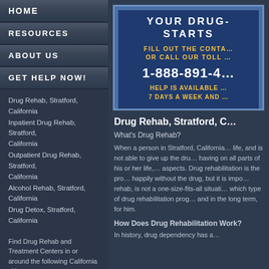HOME
RESOURCES
ABOUT US
GET HELP NOW!
Drug Rehab, Stratford, California
Inpatient Drug Rehab, Stratford, California
Outpatient Drug Rehab, Stratford, California
Alcohol Rehab, Stratford, California
Drug Detox, Stratford, California
Find Drug Rehab and Treatment Centers in or around the following California cities :
Val Verde
Montague
Irwindale
Chualar
Deer Park
San Miguel
Bodega Bay
Inverness
Rancho Tehama Reserve
Littlerock
Woodacre
Gerber-Las Flores
Taft Mosswood
Penn Valley
South Dos Palos
[Figure (infographic): Drug rehab contact banner with toll-free number 1-888-891-4... and availability notice]
Drug Rehab, Stratford, C...
What's Drug Rehab?
When a person in Stratford, California... life, and is not able to give up the dru... having on all parts of his or her life,... aspects. Drug rehabilitation is the pro... happily without the drug, but it is impo... rehab, is not a one-size-fits-all situati... which type of drug rehabilitation prog... and in the long term, for him.
How Does Drug Rehabilitation Work?
In history, drug dependency has a...